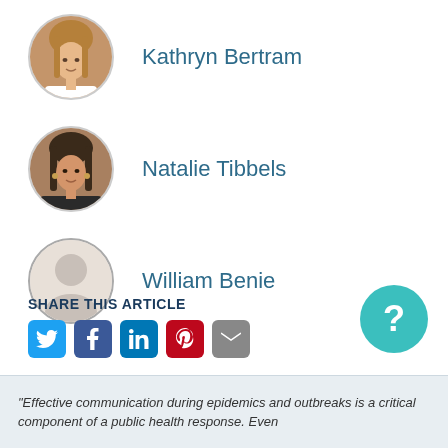[Figure (photo): Circular profile photo of Kathryn Bertram, a woman with light brown hair]
Kathryn Bertram
[Figure (photo): Circular profile photo of Natalie Tibbels, a woman with dark hair]
Natalie Tibbels
[Figure (photo): Circular default/placeholder profile silhouette for William Benie]
William Benie
SHARE THIS ARTICLE
[Figure (infographic): Social share icons: Twitter (blue), Facebook (blue), LinkedIn (dark blue), Pinterest (red), Email (gray)]
[Figure (other): Teal circular help/question mark button]
"Effective communication during epidemics and outbreaks is a critical component of a public health response. Even